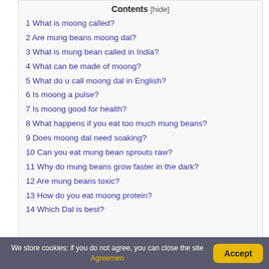Contents [hide]
1 What is moong called?
2 Are mung beans moong dal?
3 What is mung bean called in India?
4 What can be made of moong?
5 What do u call moong dal in English?
6 Is moong a pulse?
7 Is moong good for health?
8 What happens if you eat too much mung beans?
9 Does moong dal need soaking?
10 Can you eat mung bean sprouts raw?
11 Why do mung beans grow faster in the dark?
12 Are mung beans toxic?
13 How do you eat moong protein?
14 Which Dal is best?
We store cookies: if you do not agree, you can close the site Agreemen